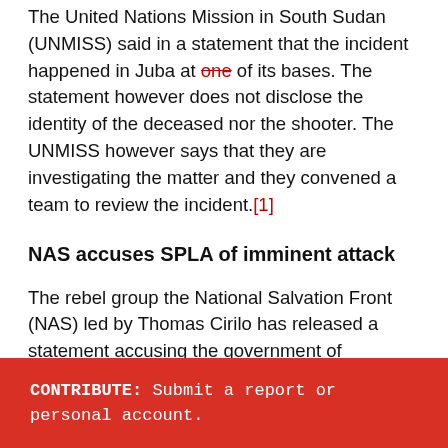The United Nations Mission in South Sudan (UNMISS) said in a statement that the incident happened in Juba at one of its bases. The statement however does not disclose the identity of the deceased nor the shooter. The UNMISS however says that they are investigating the matter and they convened a team to review the incident.[1]
NAS accuses SPLA of imminent attack
The rebel group the National Salvation Front (NAS) led by Thomas Cirilo has released a statement accusing the government of attempting to attack their bases.
NAS' chief of staff said that the government has been saying that NAS is looting property and raping women, however NAS says that this is propaganda and a ploy by the
CONTRIBUTE: Submit a report or personal account.